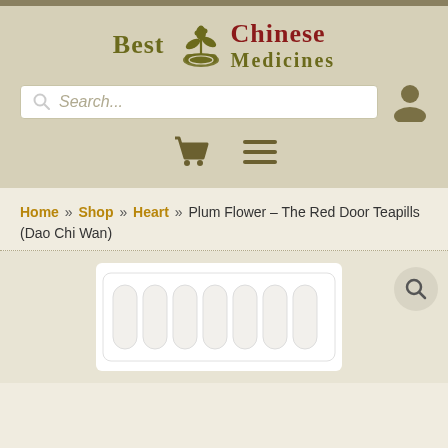[Figure (logo): Best Chinese Medicines logo with plant/mortar icon, 'BEST' in olive green serif, 'CHINESE' in dark red serif, 'MEDICINES' in olive green serif below]
[Figure (screenshot): Search bar with magnifying glass icon and placeholder text 'Search...' and a user/account icon to the right]
[Figure (infographic): Shopping cart icon and hamburger menu icon in olive/dark khaki color]
Home » Shop » Heart » Plum Flower – The Red Door Teapills (Dao Chi Wan)
[Figure (photo): Product photo of white pill packaging/blister pack on white background, with magnifying glass search icon in bottom right]